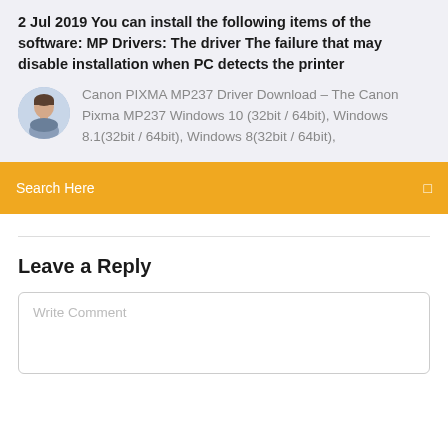2 Jul 2019 You can install the following items of the software: MP Drivers: The driver The failure that may disable installation when PC detects the printer
[Figure (photo): Avatar photo of a man, circular crop]
Canon PIXMA MP237 Driver Download – The Canon Pixma MP237 Windows 10 (32bit / 64bit), Windows 8.1(32bit / 64bit), Windows 8(32bit / 64bit),
Search Here
Leave a Reply
Write Comment